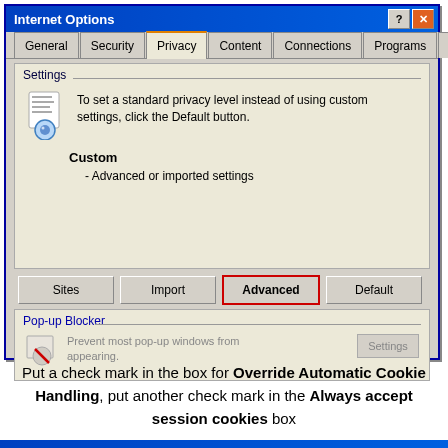[Figure (screenshot): Windows XP Internet Options dialog showing the Privacy tab. The tab header is selected with an orange top border. Settings section shows an icon of a document with a magnifying eye, text about setting standard privacy level using Default button, Custom label in bold, and '- Advanced or imported settings' text. Four buttons at bottom: Sites, Import, Advanced (highlighted with red border), Default. Pop-up Blocker section with greyed text and disabled Settings button.]
Put a check mark in the box for Override Automatic Cookie Handling, put another check mark in the Always accept session cookies box